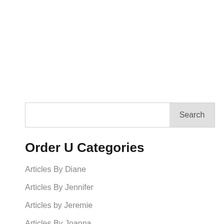Search
Order U Categories
Articles By Diane
Articles By Jennifer
Articles by Jeremie
Articles By Joanna